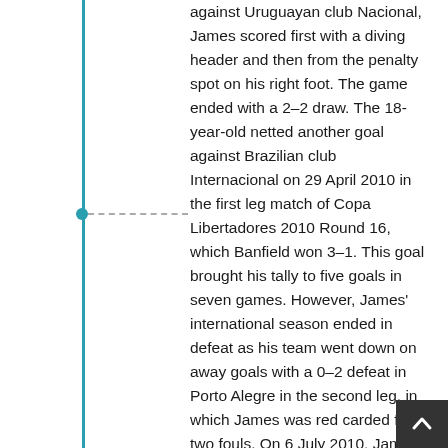against Uruguayan club Nacional, James scored first with a diving header and then from the penalty spot on his right foot. The game ended with a 2–2 draw. The 18-year-old netted another goal against Brazilian club Internacional on 29 April 2010 in the first leg match of Copa Libertadores 2010 Round 16, which Banfield won 3–1. This goal brought his tally to five goals in seven games. However, James' international season ended in defeat as his team went down on away goals with a 0–2 defeat in Porto Alegre in the second leg, in which James was red carded for two fouls. On 6 July 2010, James was signed by Porto for €5.1 million, with 30% economic rights retained by other parties. He signed a four-year contract with a €30 million release clause. Porto later re-sold 10% economic rights to third parties. On 18 July, he played his first game and scored his first goal in a friendly against Ajax. In November, Porto sold 35% economic rights (half of 70%) to Gol Football Luxembourg, S.A.R.L. for €2.5 million